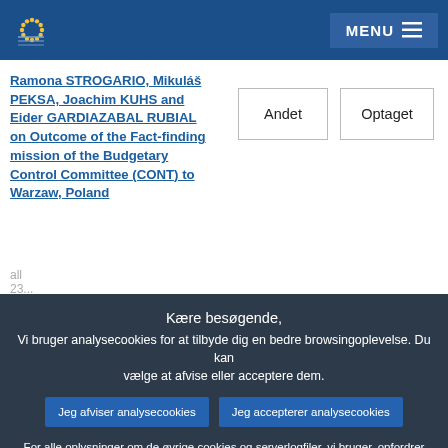European Parliament - MENU
Ramona STROGARIO, Mikuláš PEKSA, Joachim KUHS and Eider GARDIAZABAL RUBIAL on Outcome of the Fact-finding mission of the Budgetary Control Committee (CONT) to Warzaw, Poland
Andet
Optaget
Kære besøgende, Vi bruger analysecookies for at tilbyde dig en bedre browsingoplevelse. Du kan vælge at afvise eller acceptere dem.
Jeg afviser analysecookies
Jeg accepterer analysecookies
For alle oplysninger om de øvrige cookies og serverlogfiler, vi bruger, opfordrer vi dig til at læse vores databeskyttelsespolitik, , vores cookiepolitik og vores cookieoversigt..